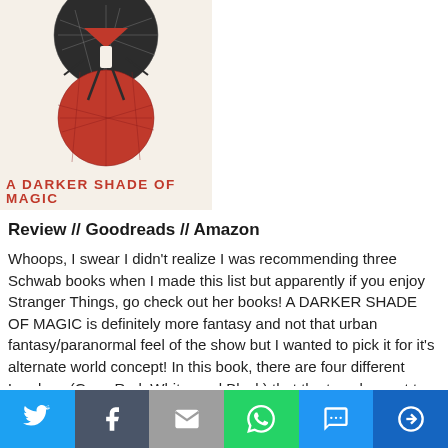[Figure (illustration): Book cover of 'A Darker Shade of Magic' showing a stylized figure with a red cape standing on a red globe, with black map-like design elements at top. Red text title at bottom reading 'A DARKER SHADE OF MAGIC'.]
Review // Goodreads // Amazon
Whoops, I swear I didn't realize I was recommending three Schwab books when I made this list but apparently if you enjoy Stranger Things, go check out her books! A DARKER SHADE OF MAGIC is definitely more fantasy and not that urban fantasy/paranormal feel of the show but I wanted to pick it for it's alternate world concept! In this book, there are four different Londons (Gray, Red, White, and Black) that the travelers get to through special abilities able to control doors, or
[Figure (infographic): Social sharing bar with six buttons: Twitter (blue bird icon), Facebook (dark gray f icon), Email (gray envelope icon), WhatsApp (green phone icon), SMS (blue SMS icon), More (dark blue circle arrow icon).]